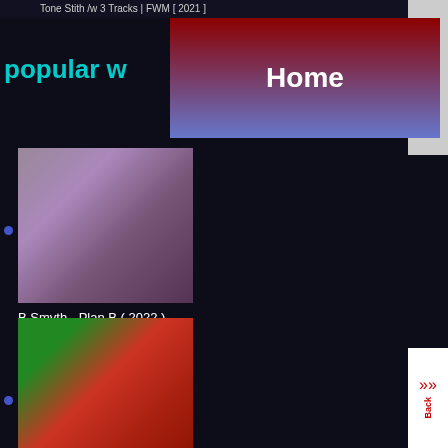Tone Stith /w 3 Tracks | FWM [ 2021 ]
popular w
Home
B Smyth - Plan B ( 2022 )
Chris Brown - WE (Warm Embrace) [ 2022 ]
Omarion ft. Chris Brown & Jhené Aiko – Post To Be ( 2014 )
Az Yet – Your Game Type ( promo rmx 1999 )